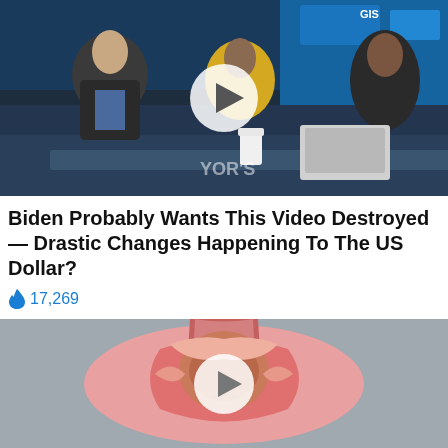[Figure (screenshot): Video thumbnail showing two people sitting at a desk in a TV studio with stock exchange graphics in background; a play button circle overlay is centered on the image]
Biden Probably Wants This Video Destroyed — Drastic Changes Happening To The US Dollar?
🔥 17,269
[Figure (illustration): Medical illustration showing a anatomical cross-section diagram in pink/rose tones on gray background, with a play button circle overlay centered on the image]